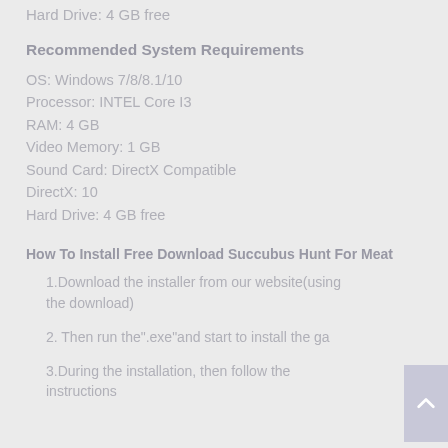Hard Drive: 4 GB free
Recommended System Requirements
OS: Windows 7/8/8.1/10
Processor: INTEL Core I3
RAM: 4 GB
Video Memory: 1 GB
Sound Card: DirectX Compatible
DirectX: 10
Hard Drive: 4 GB free
How To Install Free Download Succubus Hunt For Meat
1.Download the installer from our website(using the download)
2. Then run the".exe"and start to install the ga
3.During the installation, then follow the instructions